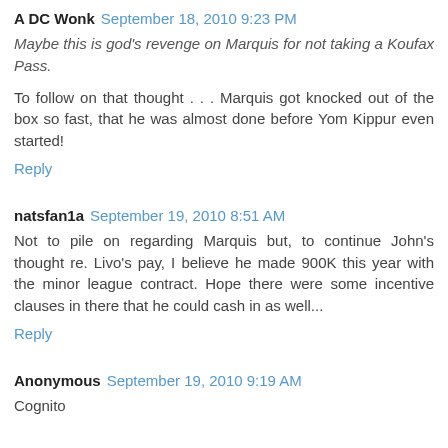A DC Wonk  September 18, 2010 9:23 PM
Maybe this is god's revenge on Marquis for not taking a Koufax Pass.
To follow on that thought . . . Marquis got knocked out of the box so fast, that he was almost done before Yom Kippur even started!
Reply
natsfan1a  September 19, 2010 8:51 AM
Not to pile on regarding Marquis but, to continue John's thought re. Livo's pay, I believe he made 900K this year with the minor league contract. Hope there were some incentive clauses in there that he could cash in as well...
Reply
Anonymous  September 19, 2010 9:19 AM
Cognito